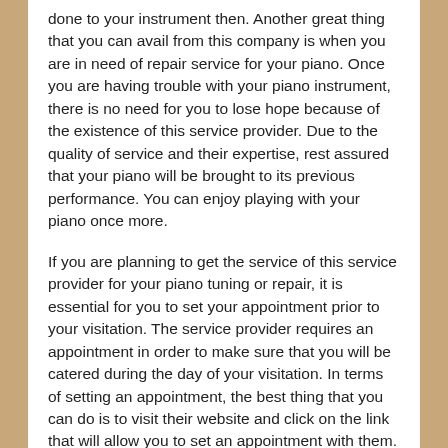done to your instrument then. Another great thing that you can avail from this company is when you are in need of repair service for your piano. Once you are having trouble with your piano instrument, there is no need for you to lose hope because of the existence of this service provider. Due to the quality of service and their expertise, rest assured that your piano will be brought to its previous performance. You can enjoy playing with your piano once more.
If you are planning to get the service of this service provider for your piano tuning or repair, it is essential for you to set your appointment prior to your visitation. The service provider requires an appointment in order to make sure that you will be catered during the day of your visitation. In terms of setting an appointment, the best thing that you can do is to visit their website and click on the link that will allow you to set an appointment with them. It will be a lot easier and convenient for you because there is no need for you to exert a lot of effort, money and time just to make an appointment with them. Instead, all you need to do is to set up your device along with your internet connection and do some clicks so as to make it possible to happen. When you choose to do so, there is an assurance that you can avoid a lot of